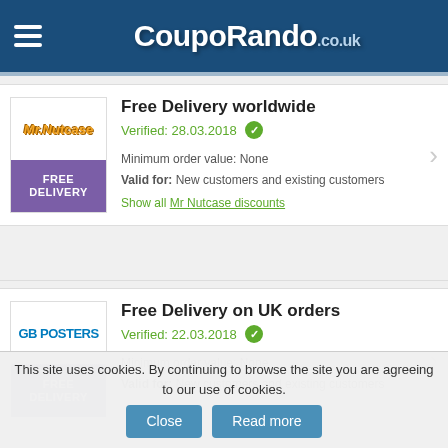[Figure (logo): CoupoRando.co.uk website header with hamburger menu and logo on dark blue background]
Free Delivery worldwide
Verified: 28.03.2018
Minimum order value: None
Valid for: New customers and existing customers
Show all Mr Nutcase discounts
Free Delivery on UK orders
Verified: 22.03.2018
Minimum order value: None
Valid for: New customers and existing customers
This site uses cookies. By continuing to browse the site you are agreeing to our use of cookies.